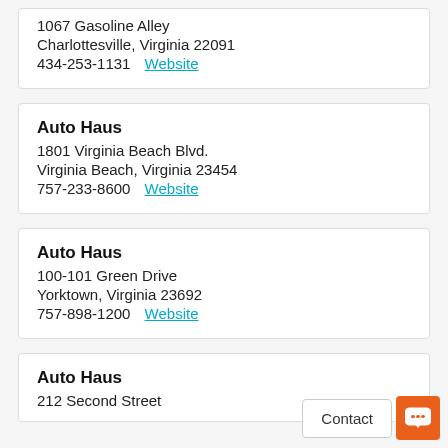1067 Gasoline Alley
Charlottesville, Virginia 22091
434-253-1131  Website
Auto Haus
1801 Virginia Beach Blvd.
Virginia Beach, Virginia 23454
757-233-8600  Website
Auto Haus
100-101 Green Drive
Yorktown, Virginia 23692
757-898-1200  Website
Auto Haus
212 Second Street